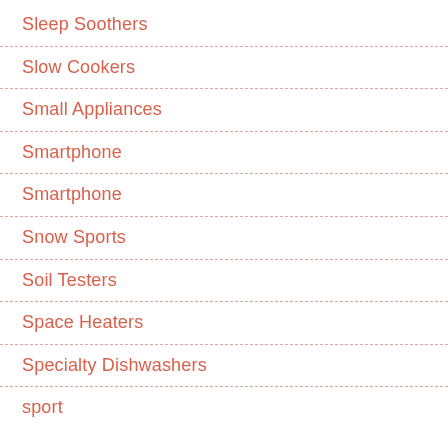Sleep Soothers
Slow Cookers
Small Appliances
Smartphone
Smartphone
Snow Sports
Soil Testers
Space Heaters
Specialty Dishwashers
sport